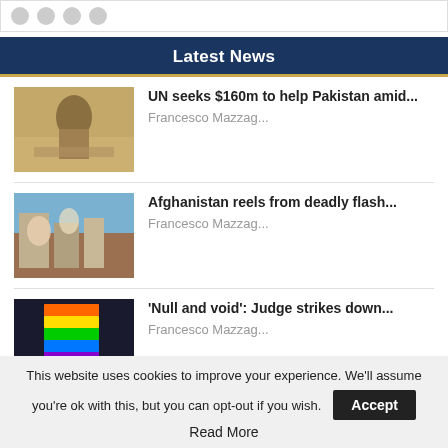Social media icons bar
Latest News
UN seeks $160m to help Pakistan amid... | Francesco Mazzag...
Afghanistan reels from deadly flash... | Francesco Mazzag...
'Null and void': Judge strikes down... | Francesco Mazzag...
This website uses cookies to improve your experience. We'll assume you're ok with this, but you can opt-out if you wish. Accept
Read More